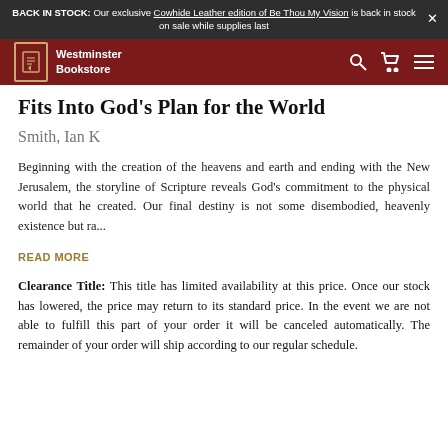BACK IN STOCK: Our exclusive Cowhide Leather edition of Be Thou My Vision is back in stock on sale while supplies last
[Figure (logo): Westminster Bookstore navigation bar with logo, search icon, cart icon, and hamburger menu icon on a dark red background]
Fits Into God's Plan for the World
Smith, Ian K
Beginning with the creation of the heavens and earth and ending with the New Jerusalem, the storyline of Scripture reveals God's commitment to the physical world that he created. Our final destiny is not some disembodied, heavenly existence but ra...
READ MORE
Clearance Title: This title has limited availability at this price. Once our stock has lowered, the price may return to its standard price. In the event we are not able to fulfill this part of your order it will be canceled automatically. The remainder of your order will ship according to our regular schedule.